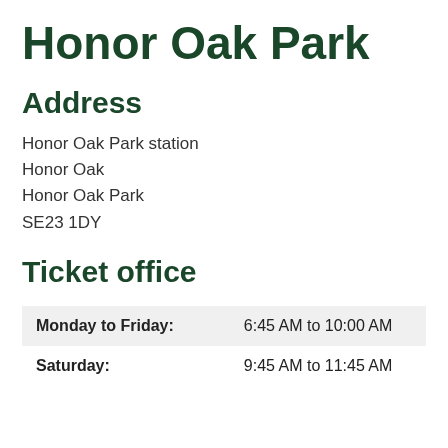Honor Oak Park
Address
Honor Oak Park station
Honor Oak
Honor Oak Park
SE23 1DY
Ticket office
| Day | Hours |
| --- | --- |
| Monday to Friday: | 6:45 AM to 10:00 AM |
| Saturday: | 9:45 AM to 11:45 AM |